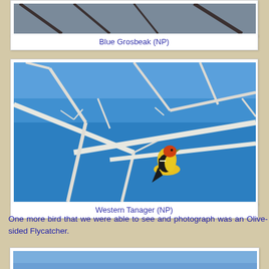[Figure (photo): Blue Grosbeak bird photo (partially visible at top of page)]
Blue Grosbeak (NP)
[Figure (photo): Western Tanager bird perched on white branches against bright blue sky]
Western Tanager (NP)
One more bird that we were able to see and photograph was an Olive-sided Flycatcher.
[Figure (photo): Olive-sided Flycatcher photo (partially visible at bottom of page)]